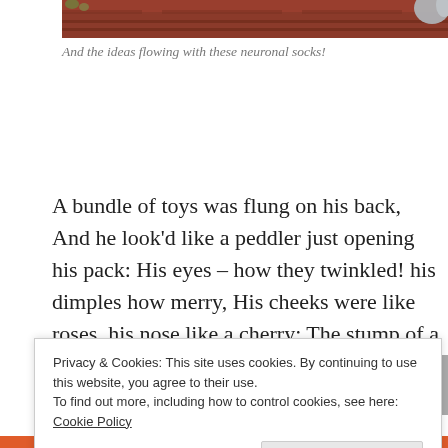[Figure (photo): Partial photo of a wooden surface (reddish-brown planks) visible at the top of the page, cropped at the bottom of the image.]
And the ideas flowing with these neuronal socks!
A bundle of toys was flung on his back, And he look'd like a peddler just opening his pack: His eyes – how they twinkled! his dimples how merry, His cheeks were like roses, his nose like a cherry; The stump of a pipe he held tight in his
Privacy & Cookies: This site uses cookies. By continuing to use this website, you agree to their use.
To find out more, including how to control cookies, see here: Cookie Policy
Close and accept